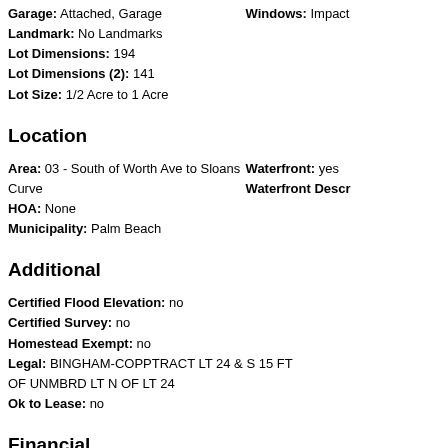Garage: Attached, Garage | Windows: Impact
Landmark: No Landmarks
Lot Dimensions: 194
Lot Dimensions (2): 141
Lot Size: 1/2 Acre to 1 Acre
Location
Area: 03 - South of Worth Ave to Sloans Curve | Waterfront: yes
HOA: None | Waterfront Descr
Municipality: Palm Beach
Additional
Certified Flood Elevation: no
Certified Survey: no
Homestead Exempt: no
Legal: BINGHAM-COPPTRACT LT 24 & S 15 FT OF UNMBRD LT N OF LT 24
Ok to Lease: no
Financial
Price/Taxes Etc 51/2 A...